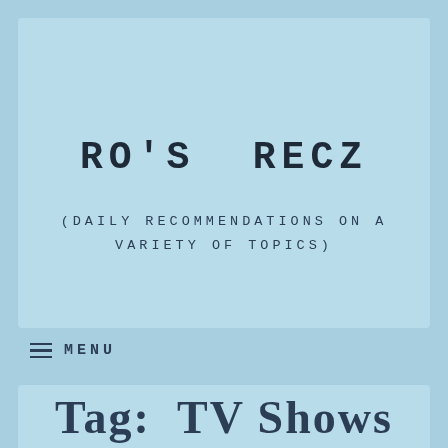RO'S RECZ
(DAILY RECOMMENDATIONS ON A VARIETY OF TOPICS)
≡  MENU
Tag: TV Shows